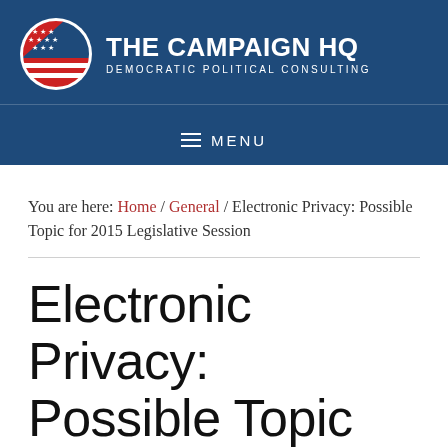[Figure (logo): The Campaign HQ logo with American flag circle emblem and text 'The Campaign HQ - Democratic Political Consulting' on dark blue background]
≡ MENU
You are here: Home / General / Electronic Privacy: Possible Topic for 2015 Legislative Session
Electronic Privacy: Possible Topic for